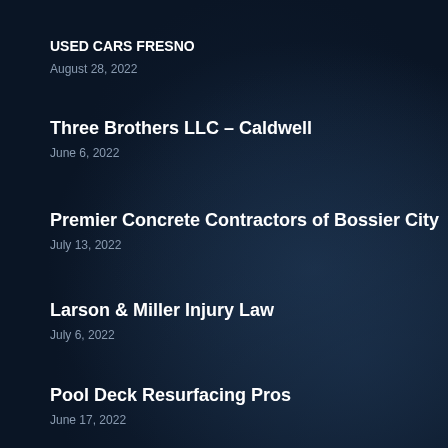USED CARS FRESNO
August 28, 2022
Three Brothers LLC – Caldwell
June 6, 2022
Premier Concrete Contractors of Bossier City
July 13, 2022
Larson & Miller Injury Law
July 6, 2022
Pool Deck Resurfacing Pros
June 17, 2022